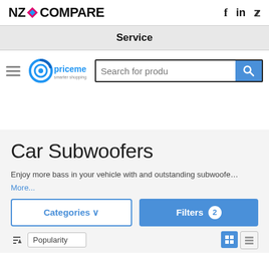[Figure (logo): NZ Compare logo with pink/blue diamond icon and bold text]
[Figure (logo): Social media icons: f (Facebook), in (LinkedIn), bird (Twitter)]
Service
[Figure (screenshot): PriceMe smarter shopping logo with hamburger menu and search bar with placeholder 'Search for produ']
Car Subwoofers
Enjoy more bass in your vehicle with and outstanding subwoofe…
More...
Categories ∨
Filters 2